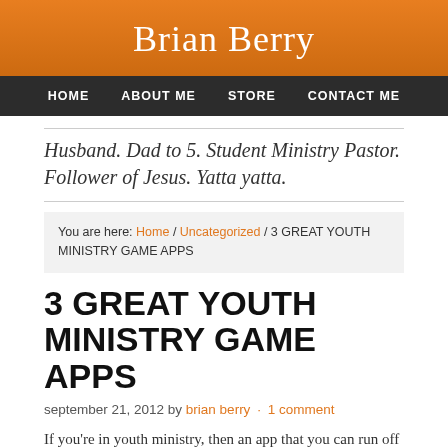Brian Berry
HOME   ABOUT ME   STORE   CONTACT ME
Husband. Dad to 5. Student Ministry Pastor. Follower of Jesus. Yatta yatta.
You are here: Home / Uncategorized / 3 GREAT YOUTH MINISTRY GAME APPS
3 GREAT YOUTH MINISTRY GAME APPS
september 21, 2012 by brian berry · 1 comment
If you're in youth ministry, then an app that you can run off